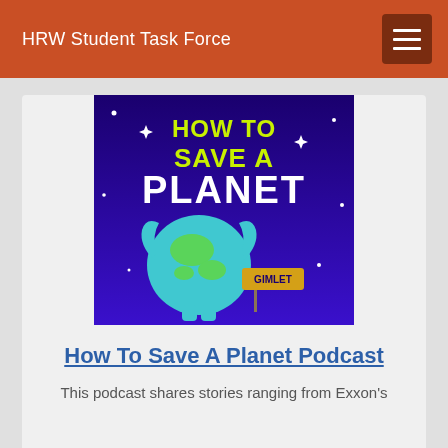HRW Student Task Force
[Figure (illustration): How To Save A Planet podcast cover art — purple/blue background with cartoon Earth hugging itself, yellow-green text 'HOW TO SAVE A PLANET', white text 'PLANET', and a Gimlet sign]
How To Save A Planet Podcast
This podcast shares stories ranging from Exxon's role in climate denial to how Black Lives Matter and gender equality are related to climate change.